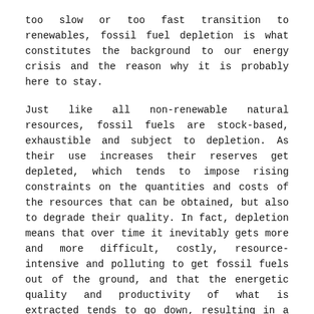too slow or too fast transition to renewables, fossil fuel depletion is what constitutes the background to our energy crisis and the reason why it is probably here to stay.
Just like all non-renewable natural resources, fossil fuels are stock-based, exhaustible and subject to depletion. As their use increases their reserves get depleted, which tends to impose rising constraints on the quantities and costs of the resources that can be obtained, but also to degrade their quality. In fact, depletion means that over time it inevitably gets more and more difficult, costly, resource-intensive and polluting to get fossil fuels out of the ground, and that the energetic quality and productivity of what is extracted tends to go down, resulting in a decreasing capacity to provide “‘surplus energy” to society and to power useful and productive work.